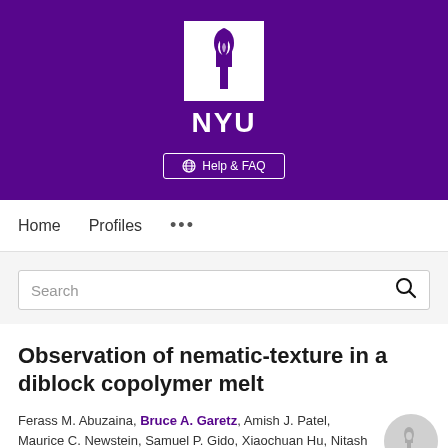[Figure (logo): NYU (New York University) logo: white box with purple torch flame icon above the letters NYU in white on purple background, with a Help & FAQ button below]
Home   Profiles   ...
Search
Observation of nematic-texture in a diblock copolymer melt
Ferass M. Abuzaina, Bruce A. Garetz, Amish J. Patel, Maurice C. Newstein, Samuel P. Gido, Xiaochuan Hu, Nitash